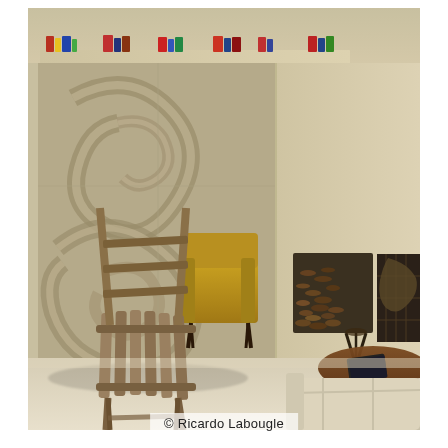[Figure (photo): Interior design photograph showing a modern living room with sculptural relief wall panels featuring swirling abstract motifs, a yellow mid-century armchair, a rustic wooden stick chair in the foreground, a stone fireplace with stacked logs, a round wooden coffee table, and a cream-colored sofa. The palette is warm beige and brown with pops of mustard yellow.]
© Ricardo Labougle